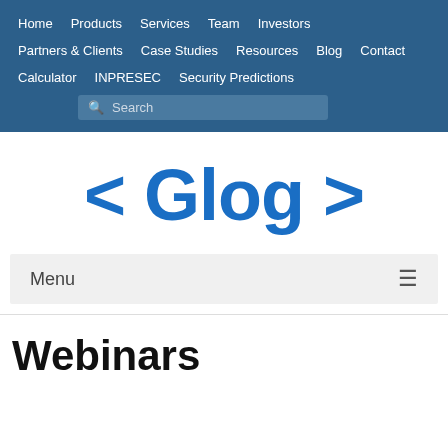Home  Products  Services  Team  Investors  Partners & Clients  Case Studies  Resources  Blog  Contact  Calculator  INPRESEC  Security Predictions
[Figure (logo): < Glog > logo text in bold blue on white background]
Menu ≡
Webinars